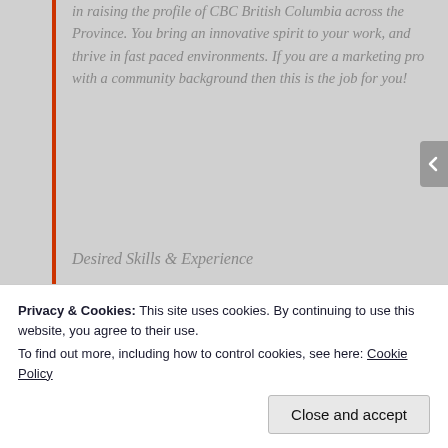in raising the profile of CBC British Columbia across the Province. You bring an innovative spirit to your work, and thrive in fast paced environments. If you are a marketing pro with a community background then this is the job for you!
Desired Skills & Experience
We are looking for candidates with the following profile:
Develop and implement strategic, integrated marketing plans to promote local TV, radio, online and community programming in BC.
Privacy & Cookies: This site uses cookies. By continuing to use this website, you agree to their use.
To find out more, including how to control cookies, see here: Cookie Policy